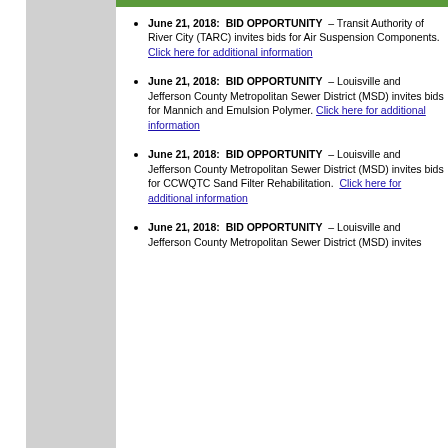June 21, 2018: BID OPPORTUNITY – Transit Authority of River City (TARC) invites bids for Air Suspension Components. Click here for additional information
June 21, 2018: BID OPPORTUNITY – Louisville and Jefferson County Metropolitan Sewer District (MSD) invites bids for Mannich and Emulsion Polymer. Click here for additional information
June 21, 2018: BID OPPORTUNITY – Louisville and Jefferson County Metropolitan Sewer District (MSD) invites bids for CCWQTC Sand Filter Rehabilitation. Click here for additional information
June 21, 2018: BID OPPORTUNITY – Louisville and Jefferson County Metropolitan Sewer District (MSD) invites